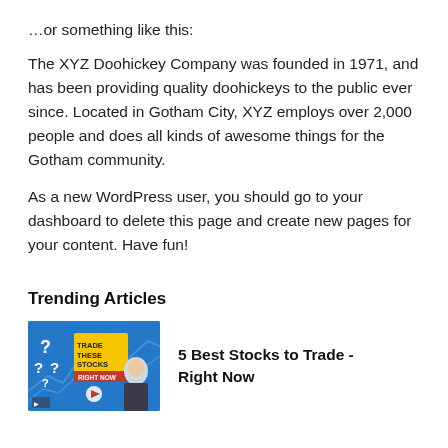…or something like this:
The XYZ Doohickey Company was founded in 1971, and has been providing quality doohickeys to the public ever since. Located in Gotham City, XYZ employs over 2,000 people and does all kinds of awesome things for the Gotham community.
As a new WordPress user, you should go to your dashboard to delete this page and create new pages for your content. Have fun!
Trending Articles
[Figure (screenshot): Thumbnail image for a video titled 'Trade These Stocks Right Now' showing question marks and a man in a suit against a blue stock chart background with a YouTube play button]
5 Best Stocks to Trade - Right Now